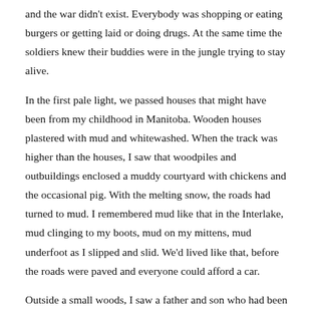and the war didn't exist. Everybody was shopping or eating burgers or getting laid or doing drugs. At the same time the soldiers knew their buddies were in the jungle trying to stay alive.
In the first pale light, we passed houses that might have been from my childhood in Manitoba. Wooden houses plastered with mud and whitewashed. When the track was higher than the houses, I saw that woodpiles and outbuildings enclosed a muddy courtyard with chickens and the occasional pig. With the melting snow, the roads had turned to mud. I remembered mud like that in the Interlake, mud clinging to my boots, mud on my mittens, mud underfoot as I slipped and slid. We'd lived like that, before the roads were paved and everyone could afford a car.
Outside a small woods, I saw a father and son who had been cutting hay in a ditch. They'd piled the loose hay into